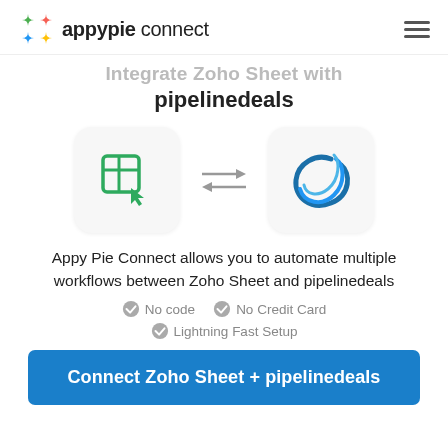appypie connect
Integrate Zoho Sheet with pipelinedeals
[Figure (illustration): Zoho Sheet icon (green table/grid icon) and pipelinedeals icon (blue swirl/circle icon) with bidirectional arrows between them]
Appy Pie Connect allows you to automate multiple workflows between Zoho Sheet and pipelinedeals
No code
No Credit Card
Lightning Fast Setup
Connect Zoho Sheet + pipelinedeals